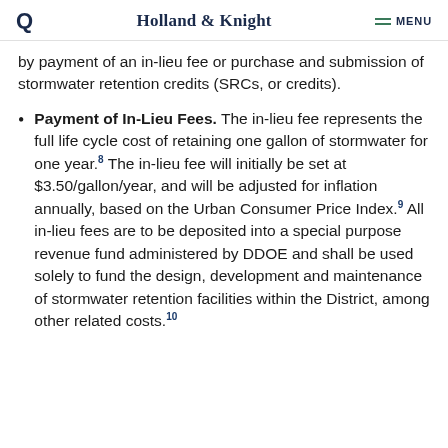Holland & Knight  MENU
by payment of an in-lieu fee or purchase and submission of stormwater retention credits (SRCs, or credits).
Payment of In-Lieu Fees. The in-lieu fee represents the full life cycle cost of retaining one gallon of stormwater for one year.8 The in-lieu fee will initially be set at $3.50/gallon/year, and will be adjusted for inflation annually, based on the Urban Consumer Price Index.9 All in-lieu fees are to be deposited into a special purpose revenue fund administered by DDOE and shall be used solely to fund the design, development and maintenance of stormwater retention facilities within the District, among other related costs.10